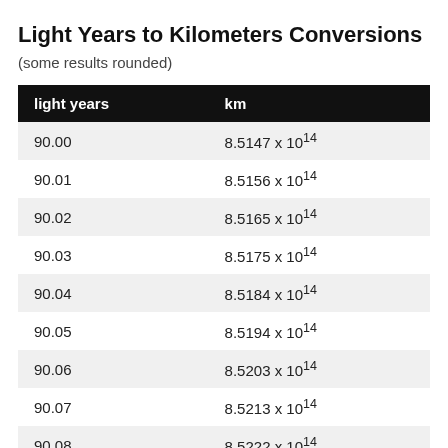Light Years to Kilometers Conversions
(some results rounded)
| light years | km |
| --- | --- |
| 90.00 | 8.5147 x 10¹⁴ |
| 90.01 | 8.5156 x 10¹⁴ |
| 90.02 | 8.5165 x 10¹⁴ |
| 90.03 | 8.5175 x 10¹⁴ |
| 90.04 | 8.5184 x 10¹⁴ |
| 90.05 | 8.5194 x 10¹⁴ |
| 90.06 | 8.5203 x 10¹⁴ |
| 90.07 | 8.5213 x 10¹⁴ |
| 90.08 | 8.5222 x 10¹⁴ |